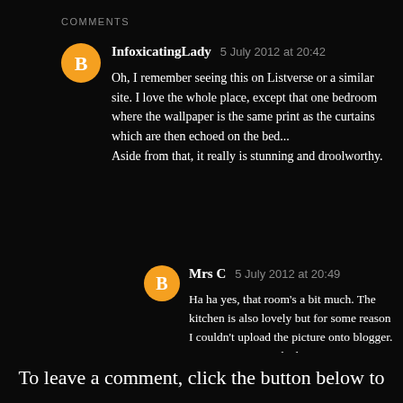COMMENTS
InfoxicatingLady 5 July 2012 at 20:42

Oh, I remember seeing this on Listverse or a similar site. I love the whole place, except that one bedroom where the wallpaper is the same print as the curtains which are then echoed on the bed...
Aside from that, it really is stunning and droolworthy.
Mrs C 5 July 2012 at 20:49

Ha ha yes, that room's a bit much. The kitchen is also lovely but for some reason I couldn't upload the picture onto blogger. You can see it via the listing.
REPLY
To leave a comment, click the button below to